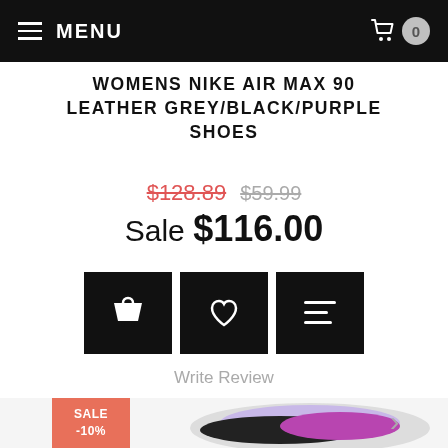MENU  0
WOMENS NIKE AIR MAX 90 LEATHER GREY/BLACK/PURPLE SHOES
$128.89  $59.99  Sale $116.00
[Figure (screenshot): Three black action buttons: shopping basket icon, heart/wishlist icon, and list/details icon]
Write Review
[Figure (photo): Nike Air Max 90 Leather shoe in grey/black/purple colorway, with a salmon/coral SALE -10% badge overlay in the top left corner of the shoe image, and navigation arrows on left and right sides]